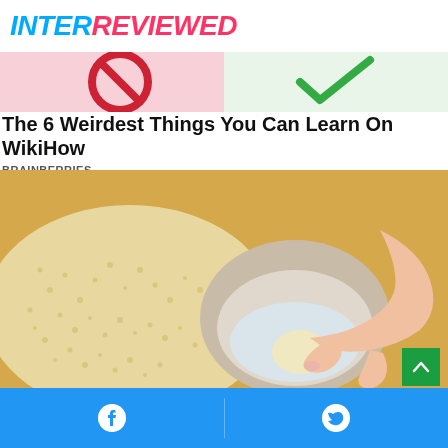INTERREVIEWED
[Figure (illustration): Top image strip showing a no symbol (red circle with slash) on the left and a green checkmark on the right, on a pink/white background]
The 6 Weirdest Things You Can Learn On WikiHow
BRAINBERRIES
[Figure (photo): A person's hand dipping an egg into a small ceramic bowl filled with water, surrounded by sesame seeds on a wooden surface]
Facebook share button and Twitter share button